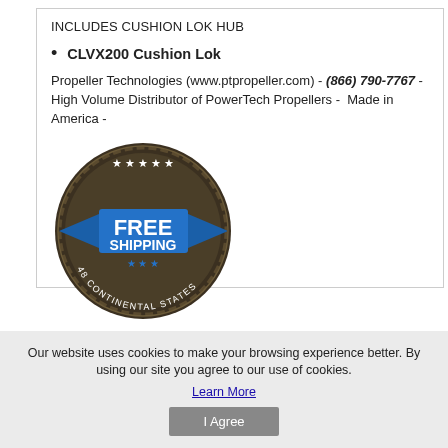INCLUDES CUSHION LOK HUB
CLVX200 Cushion Lok
Propeller Technologies (www.ptpropeller.com) - (866) 790-7767 - High Volume Distributor of PowerTech Propellers -  Made in America -
[Figure (illustration): Free Shipping badge - circular dark brown badge with blue ribbon banner, stars, and text reading FREE SHIPPING 48 CONTINENTAL STATES]
Our website uses cookies to make your browsing experience better. By using our site you agree to our use of cookies.
Learn More
I Agree